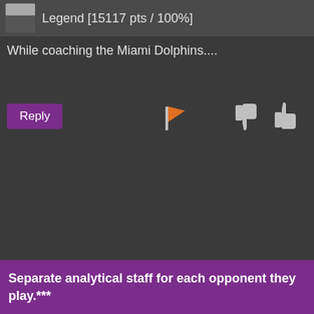Legend [15117 pts / 100%]
While coaching the Miami Dolphins....
[Figure (screenshot): Reply button (purple), orange flag icon, thumbs-down icon (grey), thumbs-up icon (grey)]
Separate analytical staff for each opponent they play.***